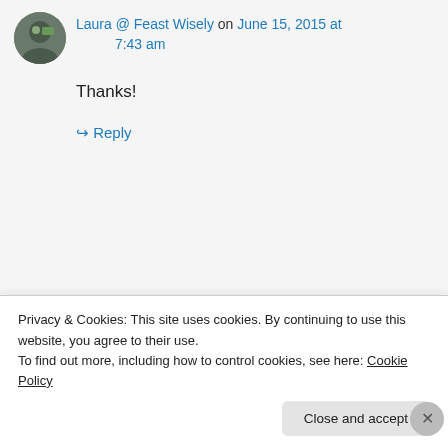Laura @ Feast Wisely on June 15, 2015 at 7:43 am
Thanks!
↳ Reply
Advertisements
[Figure (other): WordPress VIP advertisement banner with 'Learn more →' button on gradient orange/peach background]
Chitra Jagadish on June 14, 2015 at 9:11 pm
Privacy & Cookies: This site uses cookies. By continuing to use this website, you agree to their use.
To find out more, including how to control cookies, see here: Cookie Policy
Close and accept